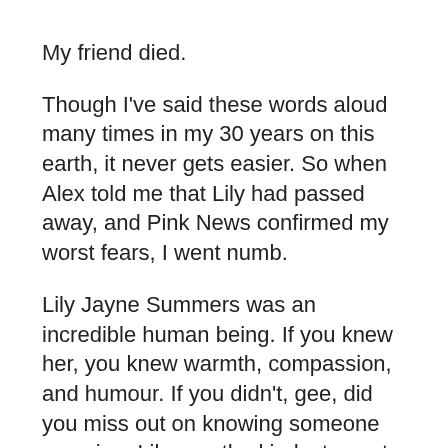My friend died.
Though I've said these words aloud many times in my 30 years on this earth, it never gets easier. So when Alex told me that Lily had passed away, and Pink News confirmed my worst fears, I went numb.
Lily Jayne Summers was an incredible human being. If you knew her, you knew warmth, compassion, and humour. If you didn't, gee, did you miss out on knowing someone amazing. Lily was the kindest, most decent person I knew. The outpouring of grief on British political Twitter, regardless of party, speaks volumes. Lily was a